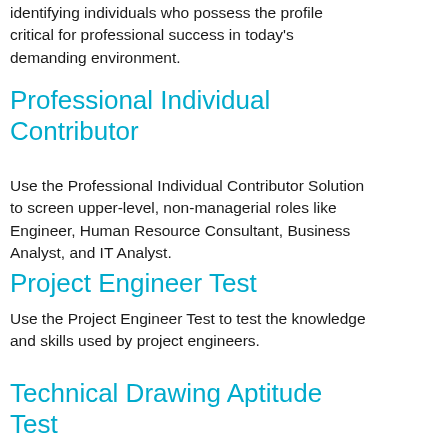identifying individuals who possess the profile critical for professional success in today's demanding environment.
Professional Individual Contributor
Use the Professional Individual Contributor Solution to screen upper-level, non-managerial roles like Engineer, Human Resource Consultant, Business Analyst, and IT Analyst.
Project Engineer Test
Use the Project Engineer Test to test the knowledge and skills used by project engineers.
Technical Drawing Aptitude Test
The Technical Drawing Aptitude Test measures understanding of mechanical drawings and blueprints in industrial settings.